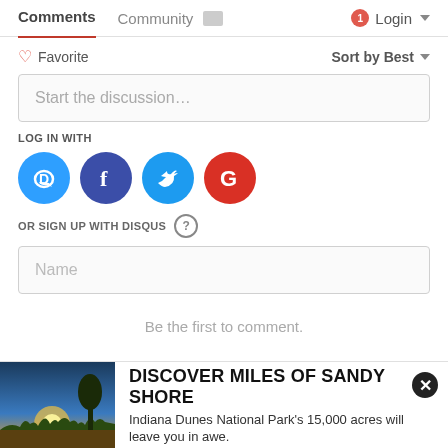Comments  Community  Login
♡ Favorite   Sort by Best
Start the discussion…
LOG IN WITH
[Figure (illustration): Four social login icons: Disqus (blue), Facebook (dark blue), Twitter (light blue), Google (red)]
OR SIGN UP WITH DISQUS ?
Name
Be the first to comment.
[Figure (photo): Sunset beach photo with grass and trees silhouetted, sandy shore, warm golden light]
DISCOVER MILES OF SANDY SHORE
Indiana Dunes National Park's 15,000 acres will leave you in awe.